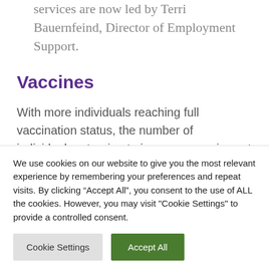services are now led by Terri Bauernfeind, Director of Employment Support.
Vaccines
With more individuals reaching full vaccination status, the number of individuals returning to in-person services at PRI is increasing. Yet, this does not mean that everyone is able to return. Since vaccination
We use cookies on our website to give you the most relevant experience by remembering your preferences and repeat visits. By clicking “Accept All”, you consent to the use of ALL the cookies. However, you may visit "Cookie Settings" to provide a controlled consent.
Cookie Settings
Accept All